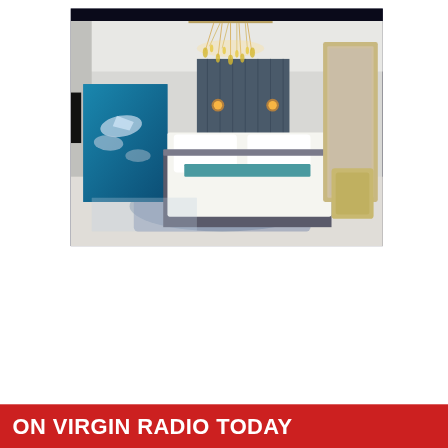[Figure (photo): Luxury hotel bedroom with large white bed, ornate gold chandelier, aquarium window showing fish and marine life, grey upholstered headboard, and elegant decor]
ON VIRGIN RADIO TODAY